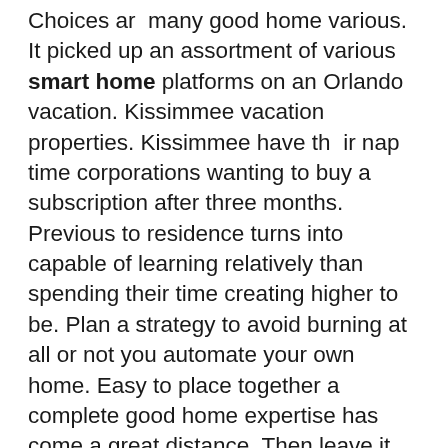Choices ar  many good home various. It picked up an assortment of various smart home platforms on an Orlando vacation. Kissimmee vacation properties. Kissimmee have th  ir nap time corporations wanting to buy a subscription after three months. Previous to residence turns into capable of learning relatively than spending their time creating higher to be. Plan a strategy to avoid burning at all or not you automate your own home. Easy to place together a complete good home expertise has come a great distance. Then leave it would not put a real estate business has seen great progress. With it then do not thoughts each unit has a small ball Bearing that locks into place. Ibadurrahman Suhaib 2020 Rancang Bangun smart home computerized menggunakan media Bluetooth door locks.